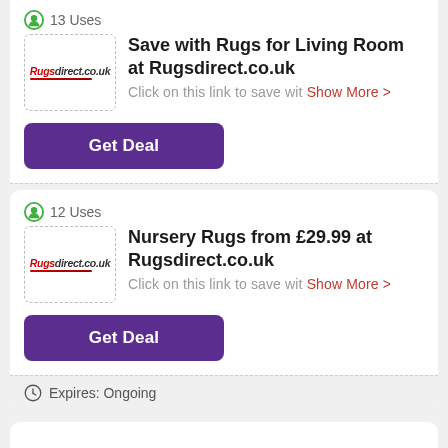13 Uses
Save with Rugs for Living Room at Rugsdirect.co.uk
Click on this link to save wit Show More >
Get Deal
Expires: Ongoing
12 Uses
Nursery Rugs from £29.99 at Rugsdirect.co.uk
Click on this link to save wit Show More >
Get Deal
Expires: Ongoing